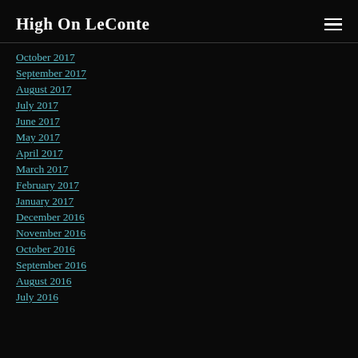High On LeConte
October 2017
September 2017
August 2017
July 2017
June 2017
May 2017
April 2017
March 2017
February 2017
January 2017
December 2016
November 2016
October 2016
September 2016
August 2016
July 2016